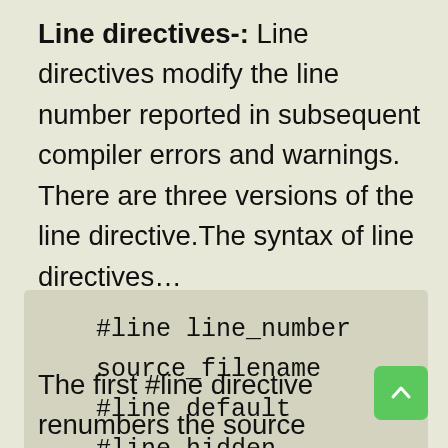Line directives-: Line directives modify the line number reported in subsequent compiler errors and warnings. There are three versions of the line directive.The syntax of line directives…
#line line_number source_filename
#line default
#line hidden
The first #line directive renumbers the source code from the location of the directive until the end of the compilation...